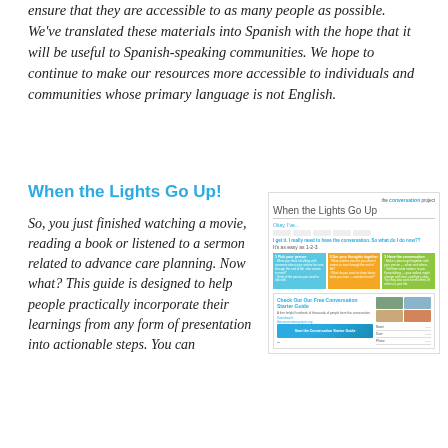ensure that they are accessible to as many people as possible. We've translated these materials into Spanish with the hope that it will be useful to Spanish-speaking communities. We hope to continue to make our resources more accessible to individuals and communities whose primary language is not English.
When the Lights Go Up!
So, you just finished watching a movie, reading a book or listened to a sermon related to advance care planning. Now what? This guide is designed to help people practically incorporate their learnings from any form of presentation into actionable steps. You can
[Figure (screenshot): Screenshot of 'When the Lights Go Up' document from The Conversation Project, showing a step-by-step guide with three colored columns (blue, orange, green) and a Conversation Starter Guide section with photos.]